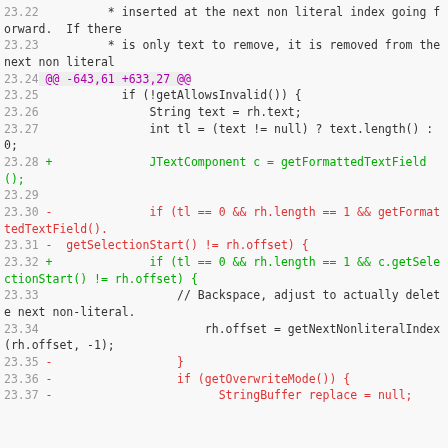[Figure (screenshot): Code diff viewer showing lines 23.22 through 23.37 of a source file with added (green) and removed (red) lines, line numbers in gray, and a hunk header in purple.]